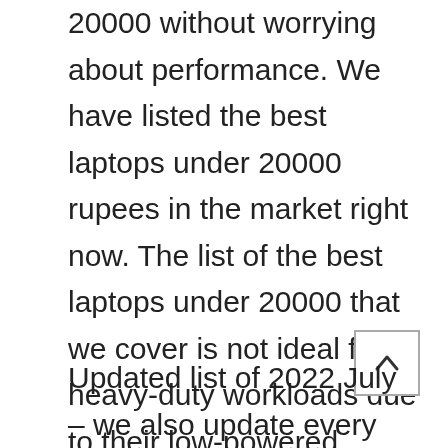20000 without worrying about performance. We have listed the best laptops under 20000 rupees in the market right now. The list of the best laptops under 20000 that we cover is not ideal for heavy-duty workloads due to their low-powered CPUs and insufficient RAM, but they should be capable of handling simple tasks such as accessing the internet composing documents. It's worth noting that some of the laptops may cost you a little bit more than 20000 depending on the current price, but we'll make sure that the extra few thousand rupees are well spent on improving your experience. You may have very few options of the best laptop under 20000. So, without further ado, here are the best laptop under 20000 in India.
Updated list of 2022 July – we also update every